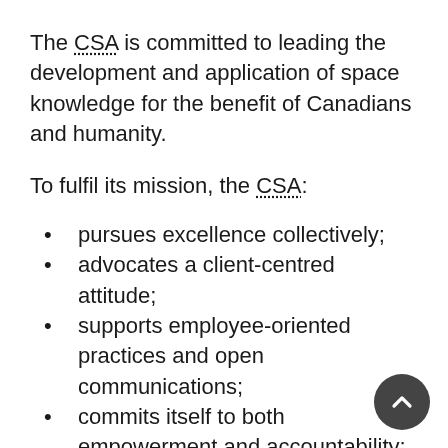The CSA is committed to leading the development and application of space knowledge for the benefit of Canadians and humanity.
To fulfil its mission, the CSA:
pursues excellence collectively;
advocates a client-centred attitude;
supports employee-oriented practices and open communications;
commits itself to both empowerment and accountability; and
pledges to co-operate and work with partners for our mutual benefit